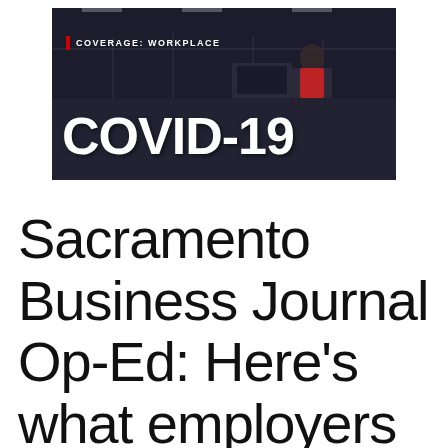[Figure (photo): News broadcast thumbnail image showing an office/workplace setting with dark background. Text overlay reads 'COVERAGE: WORKPLACE' at top and 'COVID-19' in large bold white letters at bottom. Red accent bar next to coverage label.]
Sacramento Business Journal Op-Ed: Here's what employers need from